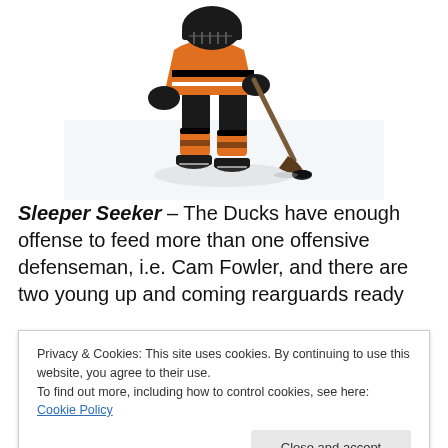[Figure (photo): Hockey player in orange and black Anaheim Ducks uniform skating and shooting a puck on ice rink]
Sleeper Seeker – The Ducks have enough offense to feed more than one offensive defenseman, i.e. Cam Fowler, and there are two young up and coming rearguards ready
Privacy & Cookies: This site uses cookies. By continuing to use this website, you agree to their use.
To find out more, including how to control cookies, see here: Cookie Policy
Close and accept
the more reliable fantasy asset.  With that said, Vatanen